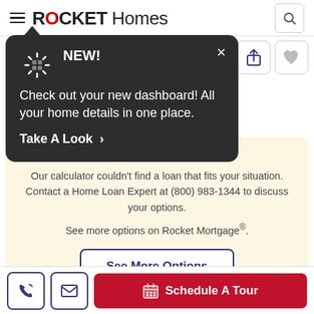ROCKET Homes
[Figure (screenshot): Tooltip popup with dark background showing NEW! message about dashboard with Take A Look link and close button]
Something doesn't add up!
Our calculator couldn't find a loan that fits your situation. Contact a Home Loan Expert at (800) 983-1344 to discuss your options.
See more options on Rocket Mortgage®.
[Figure (other): See More Options button]
[Figure (other): Bottom navigation bar with phone icon, email icon, and Schedule A Tour button]